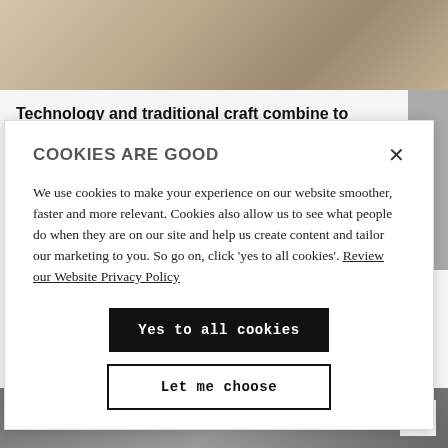[Figure (photo): Blurred background photo, appearing to show a rounded mirror or plate on a light surface]
Technology and traditional craft combine to highlight women's safety
26.08.22
COOKIES ARE GOOD
We use cookies to make your experience on our website smoother, faster and more relevant. Cookies also allow us to see what people do when they are on our site and help us create content and tailor our marketing to you. So go on, click 'yes to all cookies'. Review our Website Privacy Policy
Yes to all cookies
Let me choose